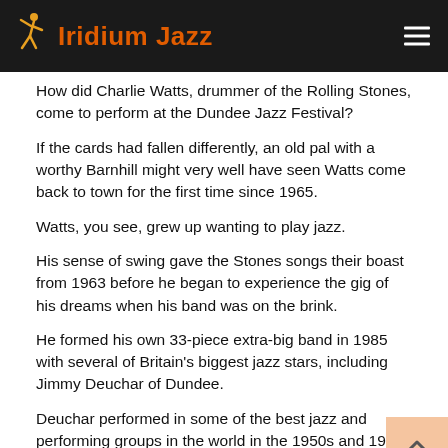Iridium Jazz
How did Charlie Watts, drummer of the Rolling Stones, come to perform at the Dundee Jazz Festival?
If the cards had fallen differently, an old pal with a worthy Barnhill might very well have seen Watts come back to town for the first time since 1965.
Watts, you see, grew up wanting to play jazz.
His sense of swing gave the Stones songs their boast from 1963 before he began to experience the gig of his dreams when his band was on the brink.
He formed his own 33-piece extra-big band in 1985 with several of Britain's biggest jazz stars, including Jimmy Deuchar of Dundee.
Deuchar performed in some of the best jazz and performing groups in the world in the 1950s and 1960s alongside Johnny